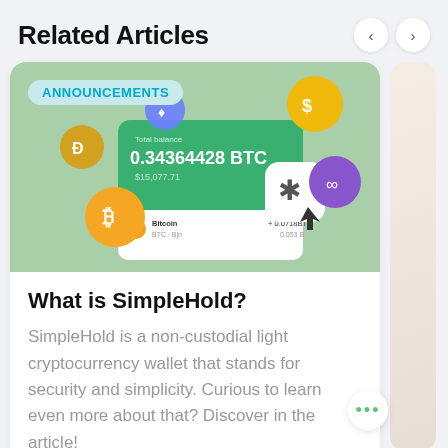Related Articles
[Figure (screenshot): Crypto wallet app screenshot showing 0.34364428 BTC and various cryptocurrency coin icons (Bitcoin, Ethereum, Dash, Chainlink, Binance Coin) on a green background with an ANNOUNCEMENTS badge]
What is SimpleHold?
SimpleHold is a non-custodial light cryptocurrency wallet that stands for security and simplicity. Curious to learn even more about that? Discover in the article!
4.92 😐  NOV 11 · 3 MIN READ